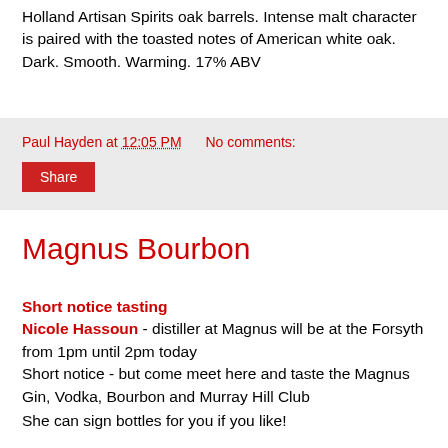Holland Artisan Spirits oak barrels. Intense malt character is paired with the toasted notes of American white oak. Dark. Smooth. Warming. 17% ABV
Paul Hayden at 12:05 PM   No comments:
Share
Magnus Bourbon
Short notice tasting
Nicole Hassoun - distiller at Magnus will be at the Forsyth from 1pm until 2pm today
Short notice - but come meet here and taste the Magnus Gin, Vodka, Bourbon and Murray Hill Club
She can sign bottles for you if you like!